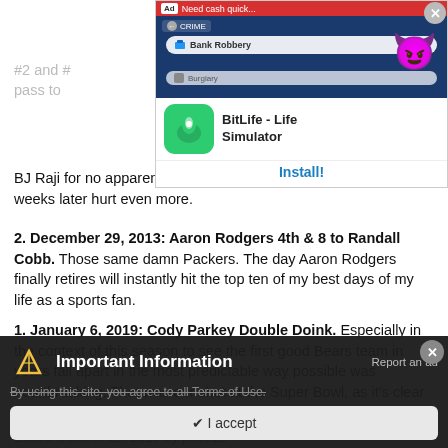[Figure (screenshot): BitLife Life Simulator app advertisement banner with game screenshot and Install button]
BJ Raji for no apparent reason. Seeing the Packers win it all two weeks later hurt even more.
2. December 29, 2013: Aaron Rodgers 4th & 8 to Randall Cobb. Those same damn Packers. The day Aaron Rodgers finally retires will instantly hit the top ten of my best days of my life as a sports fan.
1. January 6, 2019: Cody Parkey Double Doink. Especially in the context of this season to see the first good Bears team in years fall apart in the most predictable way possible was heartbreaking. That was our shot at the Super Bowl, as it's clear that whatever worked last year is now gone.
Edited October 22, 2019 by jmoe12
[Figure (screenshot): Important Information cookie consent overlay with 'I accept' button and Report an ad link]